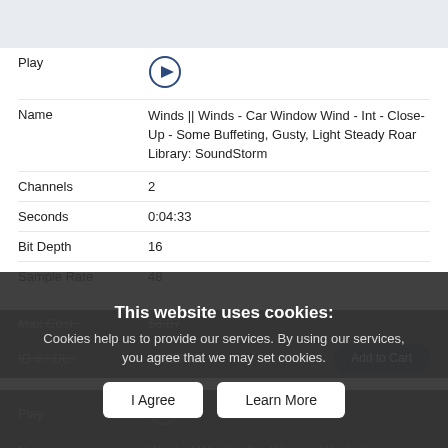Play
Name: Winds || Winds - Car Window Wind - Int - Close-Up - Some Buffeting, Gusty, Light Steady Roar
Library: SoundStorm
Channels: 2
Seconds: 0:04:33
Bit Depth: 16
Sample Rate: 48
Max Cost: $6.87
ID # / DL: 10087491
This website uses cookies:
Cookies help us to provide our services. By using our services, you agree that we may set cookies.
I Agree
Learn More
Play
Name: Winds || Winds - Car Window Wind - Int - Onboard, Steady Light